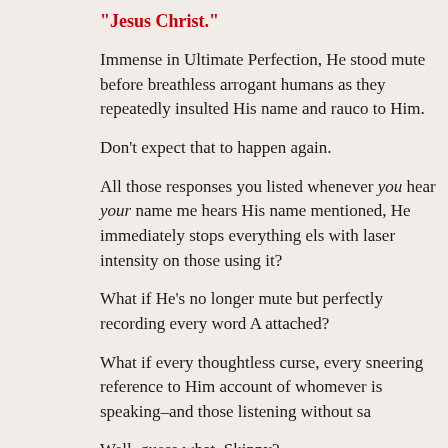“Jesus Christ.”
Immense in Ultimate Perfection, He stood mute before breathless arrogant humans as they repeatedly insulted His name and raucously to Him.
Don’t expect that to happen again.
All those responses you listed whenever you hear your name mentioned, hears His name mentioned, He immediately stops everything else and focuses with laser intensity on those using it?
What if He’s no longer mute but perfectly recording every word AN attached?
What if every thoughtless curse, every sneering reference to Him account of whomever is speaking–and those listening without say
Well, guess what, Skippy?
“Wait!  What does that have to do with meatloaf and old friends?”
Great question.  Both are things with which we can become very the point of carelessness.  They don’t have to but they often do.